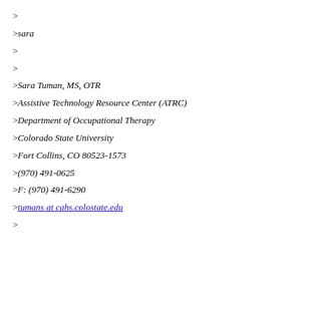>
>sara
>
>
>Sara Tuman, MS, OTR
>Assistive Technology Resource Center (ATRC)
>Department of Occupational Therapy
>Colorado State University
>Fort Collins, CO 80523-1573
>(970) 491-0625
>F: (970) 491-6290
>tumans at cahs.colostate.edu
>